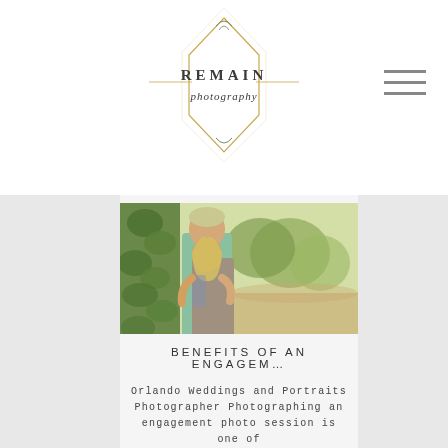[Figure (logo): Remain Photography logo — diamond/hexagon shape with script text 'Remain photography' and decorative floral lines]
[Figure (photo): Couple in an outdoor park setting; man in mint green shirt leaning against a wall covered in vines, woman with blonde hair and tattoos embracing him from behind, dappled sunlight and trees in background]
BENEFITS OF AN ENGAGEM…
Orlando Weddings and Portraits Photographer Photographing an engagement photo session is one of